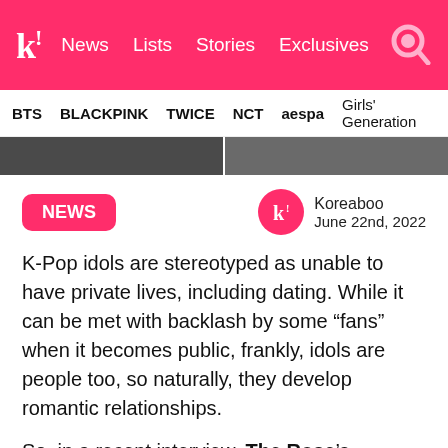K! News Lists Stories Exclusives
BTS  BLACKPINK  TWICE  NCT  aespa  Girls' Generation
[Figure (photo): Two partial photo images side by side forming an image strip]
NEWS
Koreaboo
June 22nd, 2022
K-Pop idols are stereotyped as unable to have private lives, including dating. While it can be met with backlash by some “fans” when it becomes public, frankly, idols are people too, so naturally, they develop romantic relationships.
So, in a recent interview, The Rose’s Woosung got real about his current romantic life as well as spicy topics, such as sliding into DMs and sending nude pics.